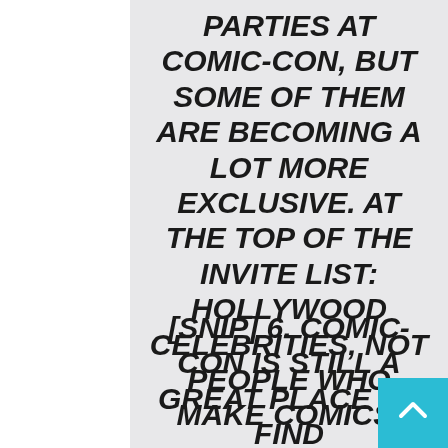PARTIES AT COMIC-CON, BUT SOME OF THEM ARE BECOMING A LOT MORE EXCLUSIVE. AT THE TOP OF THE INVITE LIST: HOLLYWOOD CELEBRITIES, NOT PEOPLE WHO MAKE COMICS.
[SNIP] 6. COMIC-CON IS STILL A GREAT PLACE TO FIND